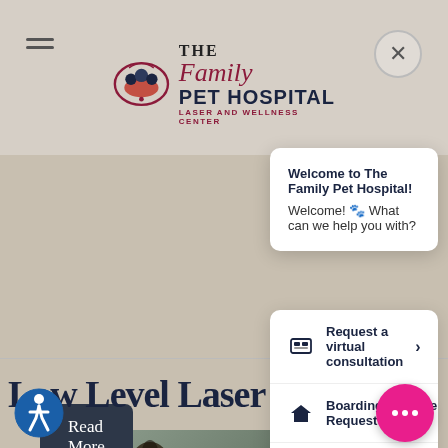[Figure (screenshot): Website screenshot of The Family Pet Hospital Laser and Wellness Center showing a chat widget overlay with options]
The Family Pet Hospital Laser and Wellness Center
Welcome to The Family Pet Hospital!
Welcome! 🐾 What can we help you with?
Read More
Request a virtual consultation >
Boarding/Daycare Request >
Something else >
Low Level Laser Therapy